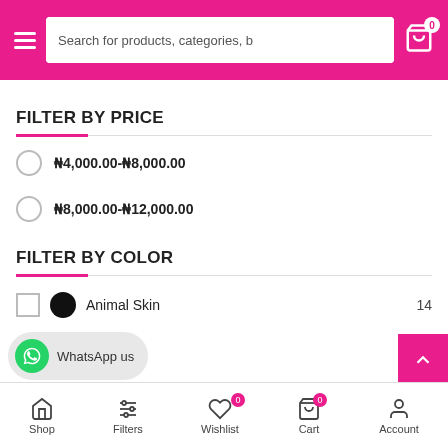[Figure (screenshot): E-commerce mobile app top navigation bar with hamburger menu, search box, and cart icon with 0 badge on pink/magenta background]
FILTER BY PRICE
₦4,000.00-₦8,000.00
₦8,000.00-₦12,000.00
FILTER BY COLOR
Animal Skin  14
Black  3
[Figure (screenshot): WhatsApp us chat bubble in bottom left]
Shop  Filters  Wishlist 0  Cart 0  Account